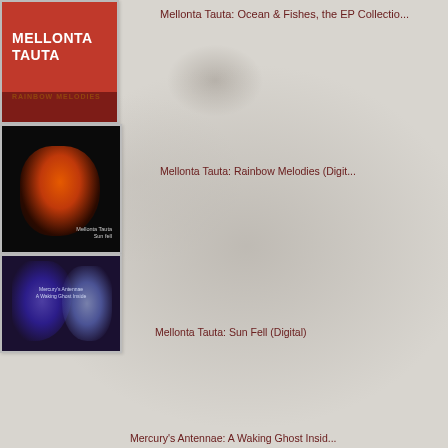Mellonta Tauta: Ocean & Fishes, the EP Collectio...
[Figure (photo): Album cover for Mellonta Tauta: Rainbow Melodies - red background with white bold text]
Mellonta Tauta: Rainbow Melodies (Digit...
[Figure (photo): Album cover for Mellonta Tauta: Sun Fell - black background with orange/red flame-like figure]
Mellonta Tauta: Sun Fell (Digital)
[Figure (photo): Album cover for Mercury's Antennae: A Waking Ghost Inside - dark blue/purple background with ghost-like blue and purple figures]
Mercury's Antennae: A Waking Ghost Insid...